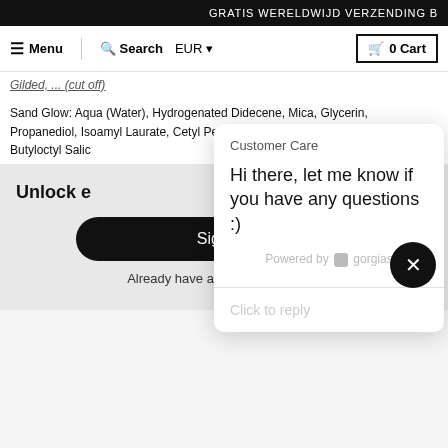GRATIS WERELDWIJD VERZENDING B
Menu  Search  EUR  0 Cart
Gilded, ... (cut off)
Sand Glow: Aqua (Water), Hydrogenated Didecene, Mica, Glycerin, Propanediol, Isoamyl Laurate, Cetyl Peg/Ppg-10/1 Dimethicone, Squalane, Butyloctyl Salic
Customer Care
Hi there, let me know if you have any questions :)
Powered by gorgias
Click to reply
Unlock e
Sign up
Already have an account? Sign in